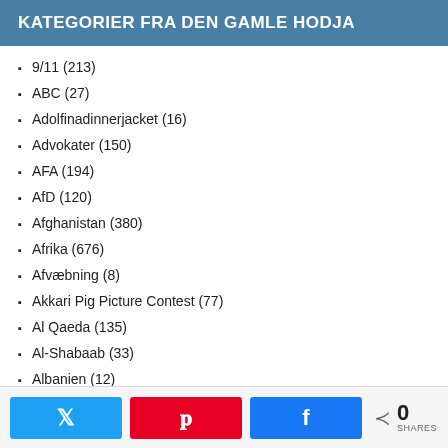KATEGORIER FRA DEN GAMLE HODJA
9/11 (213)
ABC (27)
Adolfinadinnerjacket (16)
Advokater (150)
AFA (194)
AfD (120)
Afghanistan (380)
Afrika (676)
Afvæbning (8)
Akkari Pig Picture Contest (77)
Al Qaeda (135)
Al-Shabaab (33)
Albanien (12)
Algier (31)
0 SHARES